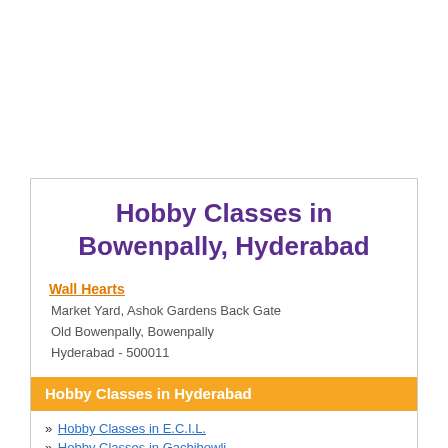Hobby Classes in Bowenpally, Hyderabad
Wall Hearts
Market Yard, Ashok Gardens Back Gate
Old Bowenpally, Bowenpally
Hyderabad - 500011
Hobby Classes in Hyderabad
» Hobby Classes in E.C.I.L.
» Hobby Classes in Gachibowli